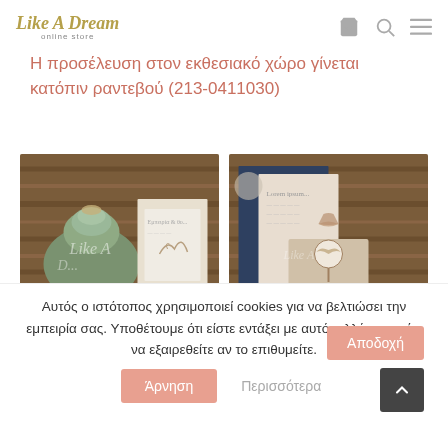Like A Dream online store
Η προσέλευση στον εκθεσιακό χώρο γίνεται κατόπιν ραντεβού (213-0411030)
[Figure (photo): Left photo: green fabric pouch/gift with white wedding invitation cards on wooden background]
[Figure (photo): Right photo: navy blue and beige wedding stationery set with tree motif box on wooden background]
Αυτός ο ιστότοπος χρησιμοποιεί cookies για να βελτιώσει την εμπειρία σας. Υποθέτουμε ότι είστε εντάξει με αυτό, αλλά μπορείτε να εξαιρεθείτε αν το επιθυμείτε.
Άρνηση
Περισσότερα
Αποδοχή